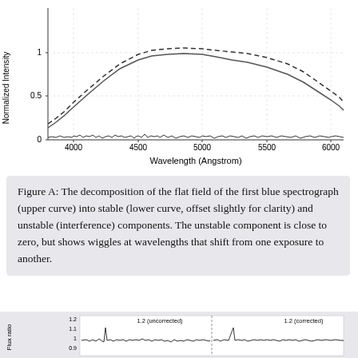[Figure (continuous-plot): Spectrum plot showing normalized intensity vs wavelength (Angstrom) from ~3800 to 6000. Two upper curves (dashed and solid) peak around 0.8-1.2 normalized intensity in the 4500-5500 range. A lower nearly-flat curve near zero shows small wiggles (unstable/interference component). Y-axis: Normalized Intensity (0, 0.5, 1). X-axis: Wavelength (Angstrom) with ticks at 4000, 4500, 5000, 5500, 6000.]
Figure A: The decomposition of the flat field of the first blue spectrograph (upper curve) into stable (lower curve, offset slightly for clarity) and unstable (interference) components. The unstable component is close to zero, but shows wiggles at wavelengths that shift from one exposure to another.
[Figure (continuous-plot): Bottom partial chart showing flux ratio vs wavelength with two panels labeled '1.2 (uncorrected)' and '1.2 (corrected)'. Y-axis shows values 1.2, 1.1, 1, 0.9. Wiggly lines near flux ratio=1.]